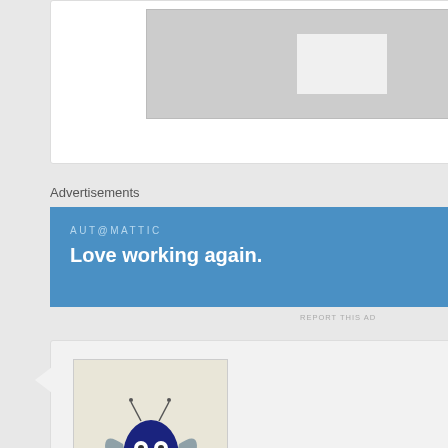[Figure (screenshot): Partial top card with gray placeholder image area]
Advertisements
[Figure (other): Automattic advertisement banner: AUT@MATTIC / Love working again.]
REPORT THIS AD
[Figure (illustration): Cartoon monster avatar with bat wings and antennae on beige background]
Peter on March 8, 2016 at 6:32 am
said:
Lookie here! WHY did it take me so long to just google 'crazy people blogs'? You came up third, but it was for the 'piggyback' article (which came up 5th...el oh el–lesson for marketers).